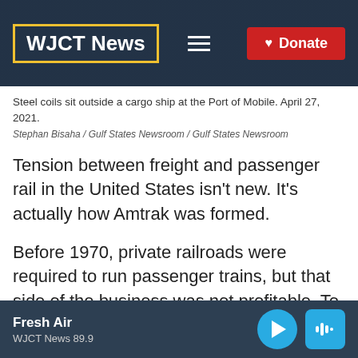WJCT News
Steel coils sit outside a cargo ship at the Port of Mobile. April 27, 2021.
Stephan Bisaha / Gulf States Newsroom / Gulf States Newsroom
Tension between freight and passenger rail in the United States isn't new. It's actually how Amtrak was formed.
Before 1970, private railroads were required to run passenger trains, but that side of the business was not profitable. To protect the
Fresh Air
WJCT News 89.9